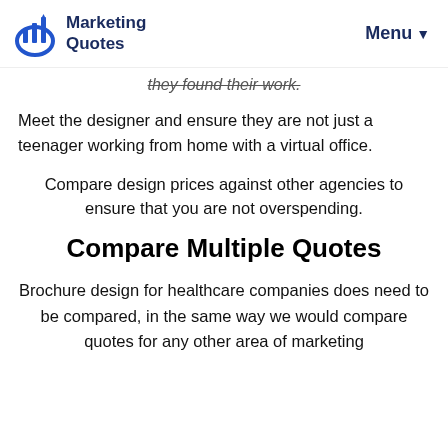Marketing Quotes | Menu
they found their work.
Meet the designer and ensure they are not just a teenager working from home with a virtual office.
Compare design prices against other agencies to ensure that you are not overspending.
Compare Multiple Quotes
Brochure design for healthcare companies does need to be compared, in the same way we would compare quotes for any other area of marketing